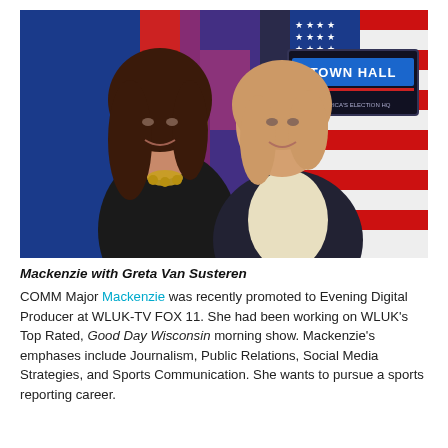[Figure (photo): Two women posing for a selfie-style photo in a TV studio with colorful red and blue background panels and a 'Town Hall' screen visible in the background.]
Mackenzie with Greta Van Susteren
COMM Major Mackenzie was recently promoted to Evening Digital Producer at WLUK-TV FOX 11. She had been working on WLUK's Top Rated, Good Day Wisconsin morning show. Mackenzie's emphases include Journalism, Public Relations, Social Media Strategies, and Sports Communication. She wants to pursue a sports reporting career.